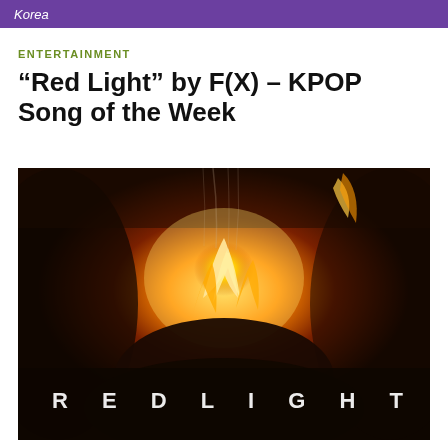Korea
ENTERTAINMENT
“Red Light” by F(X) – KPOP Song of the Week
[Figure (photo): Dark cinematic photo showing hands holding burning fire with text 'RED LIGHT' overlaid in white spaced letters at the bottom]